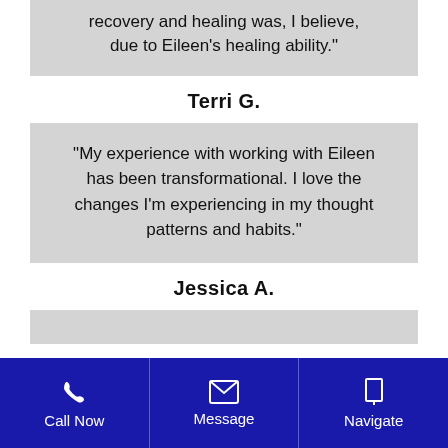“recovery and healing was, I believe, due to Eileen’s healing ability.”
Terri G.
“My experience with working with Eileen has been transformational. I love the changes I’m experiencing in my thought patterns and habits.”
Jessica A.
Call Now  Message  Navigate